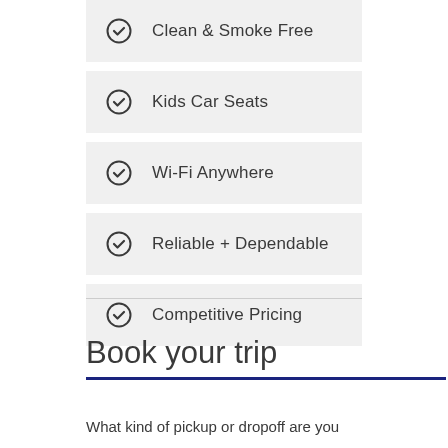Clean & Smoke Free
Kids Car Seats
Wi-Fi Anywhere
Reliable + Dependable
Competitive Pricing
Book your trip
What kind of pickup or dropoff are you